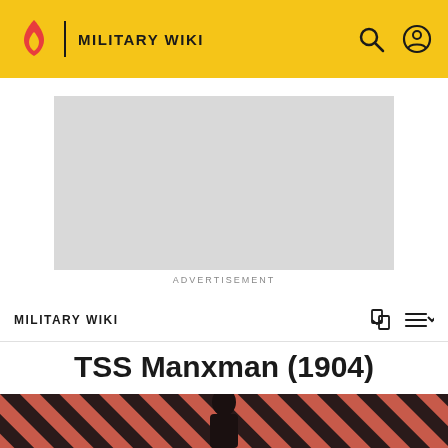MILITARY WIKI
[Figure (other): Advertisement placeholder — grey rectangle]
ADVERTISEMENT
MILITARY WIKI
TSS Manxman (1904)
[Figure (photo): Hero image with diagonal red/black stripes and a person figure in the foreground]